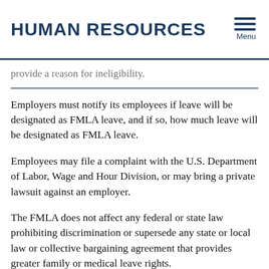HUMAN RESOURCES
provide a reason for ineligibility.
Employers must notify its employees if leave will be designated as FMLA leave, and if so, how much leave will be designated as FMLA leave.
Employees may file a complaint with the U.S. Department of Labor, Wage and Hour Division, or may bring a private lawsuit against an employer.
The FMLA does not affect any federal or state law prohibiting discrimination or supersede any state or local law or collective bargaining agreement that provides greater family or medical leave rights.
The City of Portsmouth FMLA Policy can be